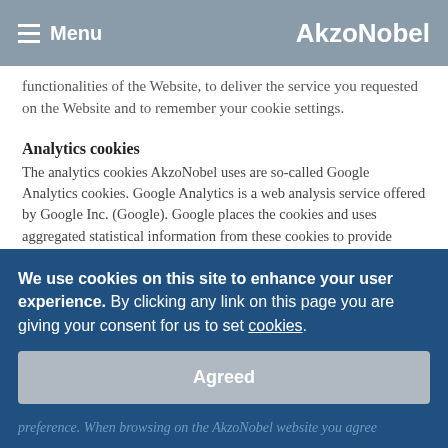Menu  AkzoNobel
functionalities of the Website, to deliver the service you requested on the Website and to remember your cookie settings.
Analytics cookies
The analytics cookies AkzoNobel uses are so-called Google Analytics cookies. Google Analytics is a web analysis service offered by Google Inc. (Google). Google places the cookies and uses aggregated statistical information from these cookies to provide AkzoNobel with an understanding of how website visitors are using the Website. The data gathered in Google Analytics will be used to analyze how our visitors experience the Website and how we can improve the Website. We have entered into a data processor agreement to ensure that Google is only allowed to provide this information to third parties if Google has a statutory...
We use cookies on this site to enhance your user experience. By clicking any link on this page you are giving your consent for us to set cookies.
Agreed
preference. When browsing on the AkzoNobel website you agree...